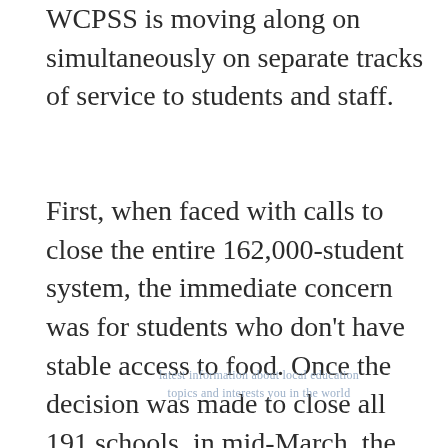WCPSS is moving along on simultaneously on separate tracks of service to students and staff.
First, when faced with calls to close the entire 162,000-student system, the immediate concern was for students who don't have stable access to food. Once the decision was made to close all 191 schools, in mid-March, the school system had a plan for food distribution sites to set up across the county within hours. Hours, not days. As of last Friday, March 27 just two weeks into the effort, the schools had